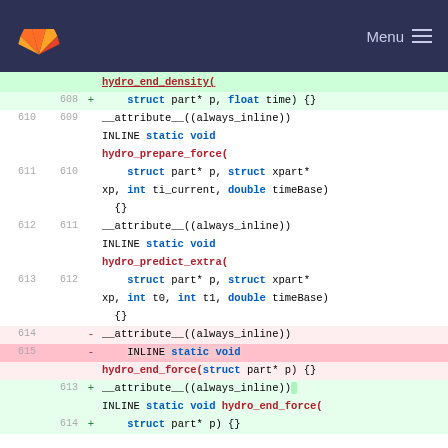GitLab Menu
[Figure (screenshot): Code diff view showing changes to hydro functions in a C source file. Lines 608-614 shown with added/removed markers.]